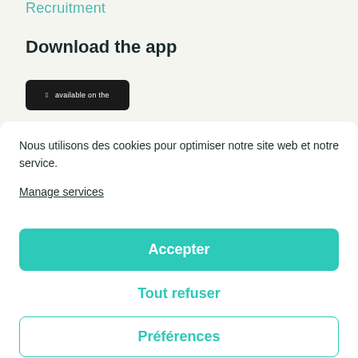Recruitment
Download the app
[Figure (screenshot): App store download button (black rounded rectangle with small text 'available on the')]
Nous utilisons des cookies pour optimiser notre site web et notre service.
Manage services
Accepter
Tout refuser
Préférences
Cookies policy   Privacy Statement